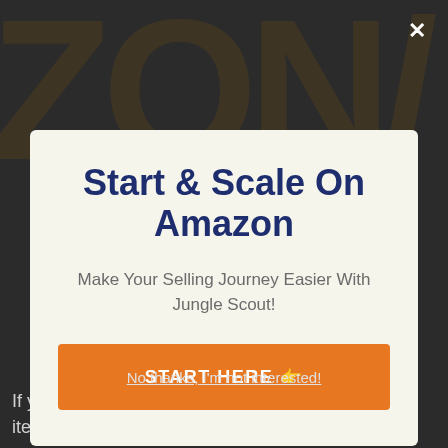[Figure (screenshot): Background with large dark orange letters 'ZONA' partially visible behind a dimmed overlay]
Start & Scale On Amazon
Make Your Selling Journey Easier With Jungle Scout!
START HERE 👉
No thanks, I'm not interested!
If you get on the go and also intend to keyword or item study then utilize the Jungle Scout internet